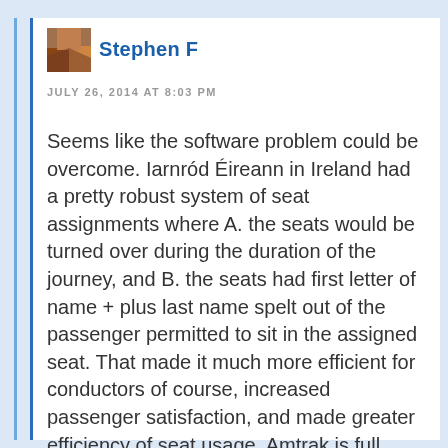Stephen F
JULY 26, 2014 AT 8:03 PM
Seems like the software problem could be overcome. Iarnród Éireann in Ireland had a pretty robust system of seat assignments where A. the seats would be turned over during the duration of the journey, and B. the seats had first letter of name + plus last name spelt out of the passenger permitted to sit in the assigned seat. That made it much more efficient for conductors of course, increased passenger satisfaction, and made greater efficiency of seat usage. Amtrak is full